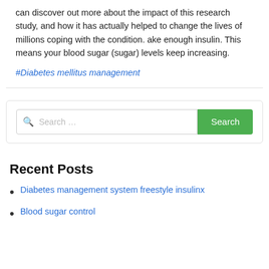can discover out more about the impact of this research study, and how it has actually helped to change the lives of millions coping with the condition. ake enough insulin. This means your blood sugar (sugar) levels keep increasing.
#Diabetes mellitus management
[Figure (other): Search bar with placeholder text 'Search ...' and a green Search button]
Recent Posts
Diabetes management system freestyle insulinx
Blood sugar control